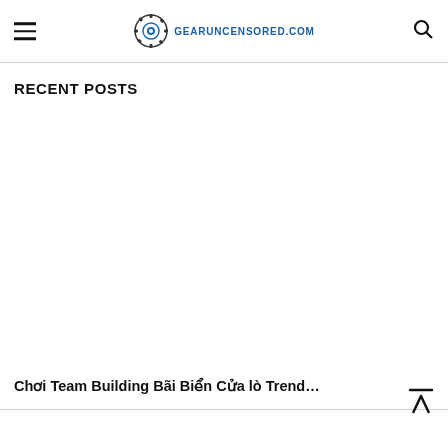GEARUNCENSORED.COM
RECENT POSTS
Chơi Team Building Bãi Biển Cửa lò Trend…